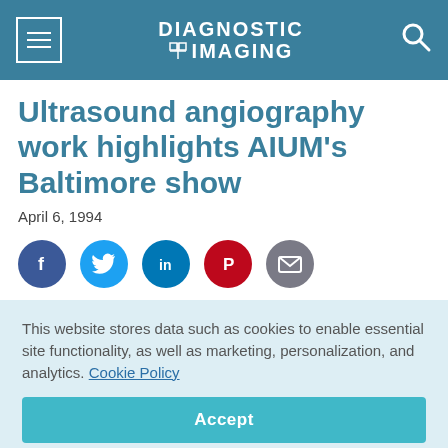DIAGNOSTIC IMAGING
Ultrasound angiography work highlights AIUM's Baltimore show
April 6, 1994
[Figure (infographic): Row of social media sharing icons: Facebook, Twitter, LinkedIn, Pinterest, Email]
This website stores data such as cookies to enable essential site functionality, as well as marketing, personalization, and analytics. Cookie Policy
Accept
Deny